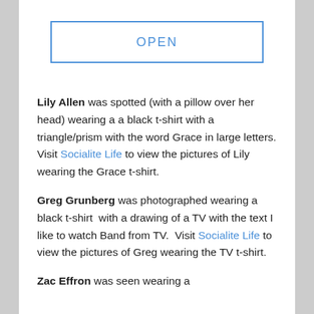[Figure (other): OPEN button with blue border inside a white card panel]
Lily Allen was spotted (with a pillow over her head) wearing a a black t-shirt with a triangle/prism with the word Grace in large letters. Visit Socialite Life to view the pictures of Lily wearing the Grace t-shirt.
Greg Grunberg was photographed wearing a black t-shirt  with a drawing of a TV with the text I like to watch Band from TV.  Visit Socialite Life to view the pictures of Greg wearing the TV t-shirt.
Zac Effron was seen wearing a